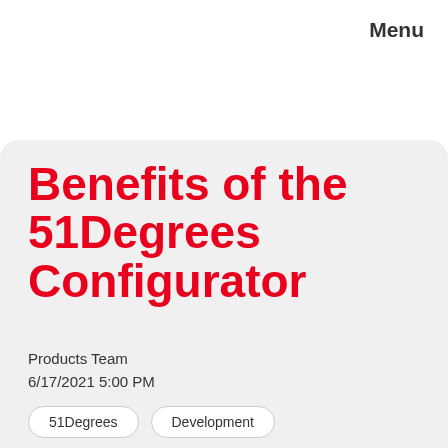Menu
Benefits of the 51Degrees Configurator
Products Team
6/17/2021 5:00 PM
51Degrees
Development